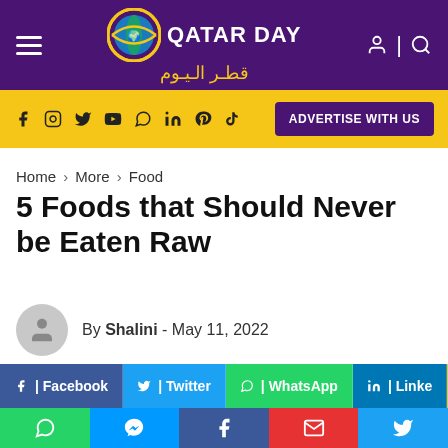[Figure (logo): Qatar Day website header with purple background, hamburger menu, Qatar Day logo with Arabic text, and user/search icons]
[Figure (infographic): Yellow social media bar with icons (Facebook, Instagram, Twitter, YouTube, WhatsApp, LinkedIn, Pinterest, TikTok) and ADVERTISE WITH US button]
Home > More > Food
5 Foods that Should Never be Eaten Raw
By Shalini - May 11, 2022
[Figure (infographic): Social share buttons: Facebook (blue), Twitter (light blue), WhatsApp (green), LinkedIn (dark blue), and scroll-to-top arrow (yellow)]
[Figure (infographic): Bottom mobile share bar with WhatsApp (green), Messenger (blue), Facebook (dark blue), Email (red), Twitter (light blue) icons]